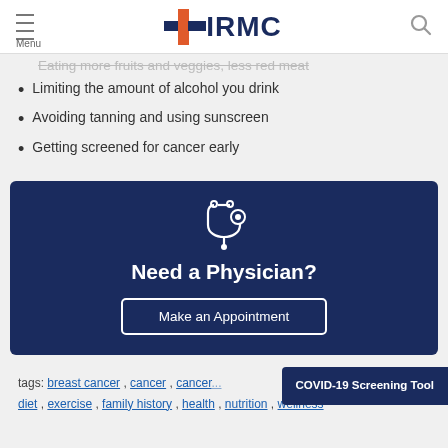IRMC
Eating more fruits and veggies, less red meat
Limiting the amount of alcohol you drink
Avoiding tanning and using sunscreen
Getting screened for cancer early
[Figure (infographic): Dark navy box with stethoscope icon, 'Need a Physician?' heading, and 'Make an Appointment' button]
tags: breast cancer , cancer , cancer... , diet , exercise , family history , health , nutrition , wellness